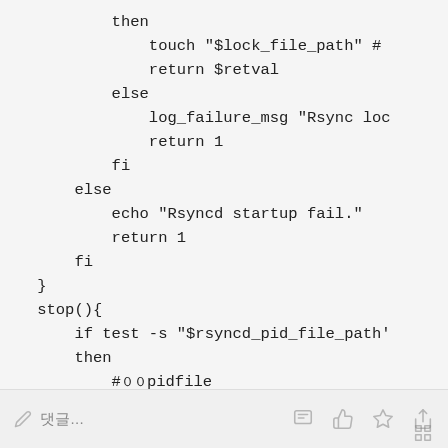then
    touch "$lock_file_path" #
    return $retval
else
    log_failure_msg "Rsync loc
    return 1
fi
else
    echo "Rsyncd startup fail."
    return 1
fi
}
stop(){
    if test -s "$rsyncd_pid_file_path'
    then
        #  pidfile
        rsyncd_pid `cat "$rsyncd_pid_f
✏ 댓글...  [icons]